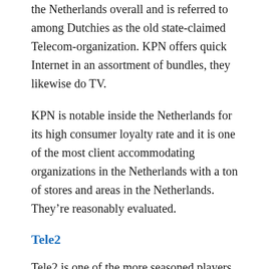the Netherlands overall and is referred to among Dutchies as the old state-claimed Telecom-organization. KPN offers quick Internet in an assortment of bundles, they likewise do TV.
KPN is notable inside the Netherlands for its high consumer loyalty rate and it is one of the most client accommodating organizations in the Netherlands with a ton of stores and areas in the Netherlands. They’re reasonably evaluated.
Tele2
Tele2 is one of the more seasoned players available and overall is one of the less expensive Internet suppliers in the Netherlands. In the event that you are not a weighty Internet client, this could be the better choice for…